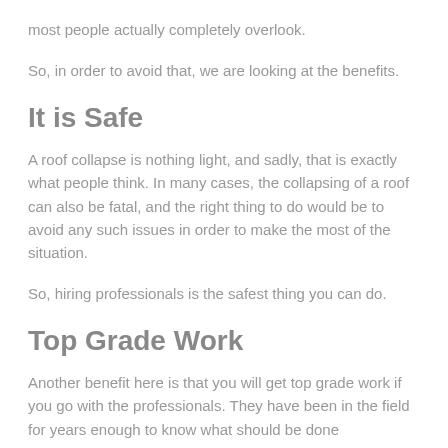most people actually completely overlook.
So, in order to avoid that, we are looking at the benefits.
It is Safe
A roof collapse is nothing light, and sadly, that is exactly what people think. In many cases, the collapsing of a roof can also be fatal, and the right thing to do would be to avoid any such issues in order to make the most of the situation.
So, hiring professionals is the safest thing you can do.
Top Grade Work
Another benefit here is that you will get top grade work if you go with the professionals. They have been in the field for years enough to know what should be done